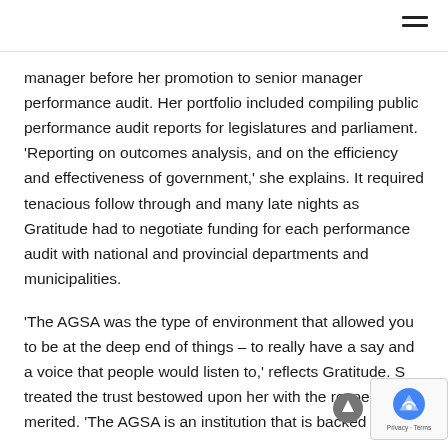manager before her promotion to senior manager performance audit. Her portfolio included compiling public performance audit reports for legislatures and parliament. 'Reporting on outcomes analysis, and on the efficiency and effectiveness of government,' she explains. It required tenacious follow through and many late nights as Gratitude had to negotiate funding for each performance audit with national and provincial departments and municipalities.
'The AGSA was the type of environment that allowed you to be at the deep end of things – to really have a say and a voice that people would listen to,' reflects Gratitude. She treated the trust bestowed upon her with the respect it merited. 'The AGSA is an institution that is backed by the